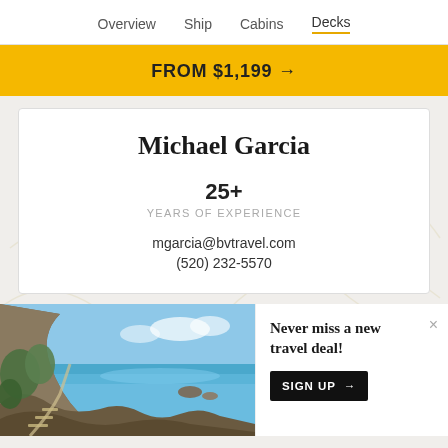Overview   Ship   Cabins   Decks
FROM $1,199 →
Michael Garcia
25+
YEARS OF EXPERIENCE
mgarcia@bvtravel.com
(520) 232-5570
[Figure (photo): Scenic coastal cliff pathway with Mediterranean-style blue water and rocky landscape]
Never miss a new travel deal!
SIGN UP →